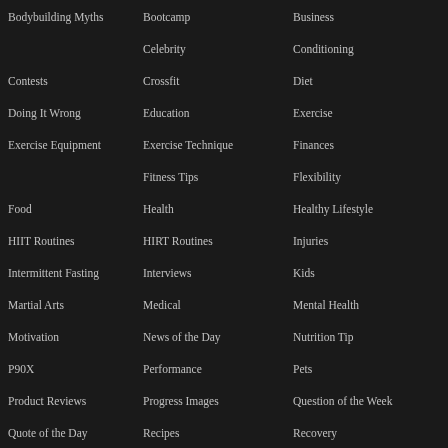Bodybuilding Myths
Bootcamp
Business
Celebrity
Conditioning
Contests
Crossfit
Diet
Doing It Wrong
Education
Exercise
Exercise Equipment
Exercise Technique
Finances
Fitness Tips
Flexibility
Food
Health
Healthy Lifestyle
HIIT Routines
HIRT Routines
Injuries
Intermittent Fasting
Interviews
Kids
Martial Arts
Medical
Mental Health
Motivation
News of the Day
Nutrition Tip
P90X
Performance
Pets
Product Reviews
Progress Images
Question of the Week
Quote of the Day
Recipes
Recovery